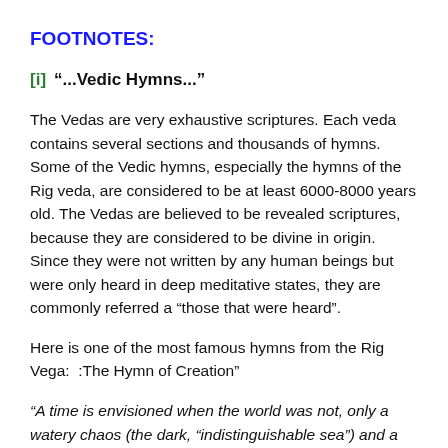FOOTNOTES:
[i]  “...Vedic Hymns...”
The Vedas are very exhaustive scriptures. Each veda contains several sections and thousands of hymns. Some of the Vedic hymns, especially the hymns of the Rig veda, are considered to be at least 6000-8000 years old. The Vedas are believed to be revealed scriptures, because they are considered to be divine in origin. Since they were not written by any human beings but were only heard in deep meditative states, they are commonly referred a “those that were heard”.
Here is one of the most famous hymns from the Rig Vega:  :The Hymn of Creation”
“A time is envisioned when the world was not, only a watery chaos (the dark, “indistinguishable sea”) and a warm cosmic breath, which